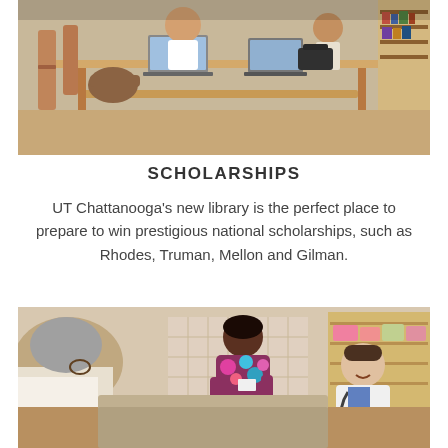[Figure (photo): Students studying with laptops at tables in a library setting]
SCHOLARSHIPS
UT Chattanooga's new library is the perfect place to prepare to win prestigious national scholarships, such as Rhodes, Truman, Mellon and Gilman.
[Figure (photo): Medical students and a nurse interacting with a patient in a clinical setting; one student wearing scrubs holds a chart, another in a white coat with stethoscope kneels nearby]